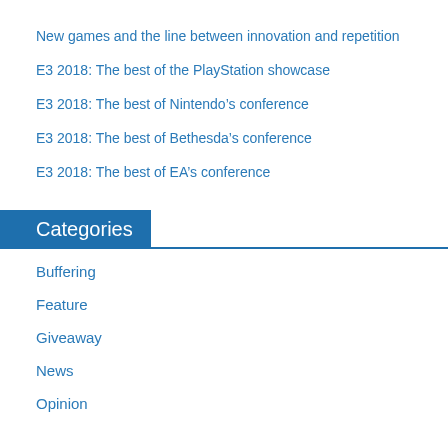New games and the line between innovation and repetition
E3 2018: The best of the PlayStation showcase
E3 2018: The best of Nintendo’s conference
E3 2018: The best of Bethesda’s conference
E3 2018: The best of EA’s conference
Categories
Buffering
Feature
Giveaway
News
Opinion